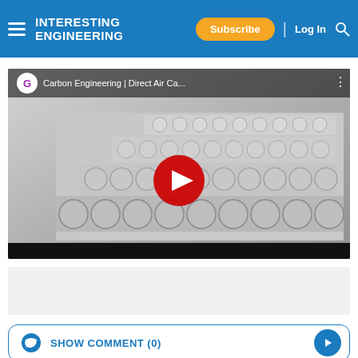INTERESTING ENGINEERING — Subscribe | Log In
[Figure (screenshot): YouTube embedded video player showing Carbon Engineering | Direct Air Capture facility with large industrial fan array. Red play button overlay on gray industrial machine image.]
SHOW COMMENT (0)